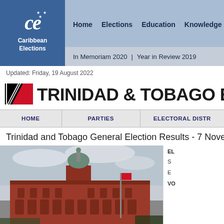[Figure (logo): Caribbean Elections logo: blue box with stylized 'ce' in white italic with stars, text 'Caribbean Elections' below]
Home   Elections   Education   Knowledge   Biography
In Memoriam 2020 | Year in Review 2019
Updated: Friday, 19 August 2022
TRINIDAD & TOBAGO EL
HOME   PARTIES   ELECTORAL DISTR
Trinidad and Tobago General Election Results - 7 Nove
[Figure (photo): Photograph of a large red colonial-style government building with a domed tower, against a cloudy sky, with tropical trees visible.]
EL

S

E

VO